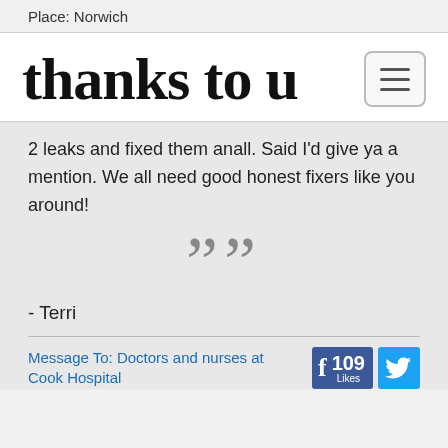Place: Norwich
thanks to u
2 leaks and fixed them anall. Said I'd give ya a mention. We all need good honest fixers like you around!
””
- Terri
Message To: Doctors and nurses at Cook Hospital